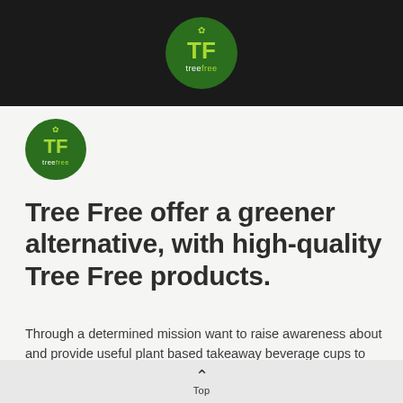treefree logo header
[Figure (logo): Tree Free circular green logo with TF letters and treefree text - small version]
Tree Free offer a greener alternative, with high-quality Tree Free products.
Through a determined mission want to raise awareness about and provide useful plant based takeaway beverage cups to the nation.
READ MORE
CALL 0447 799 149
Top